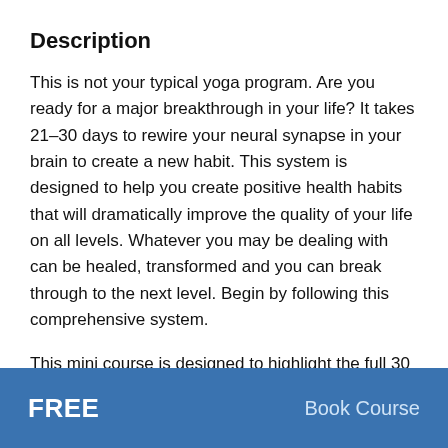Description
This is not your typical yoga program. Are you ready for a major breakthrough in your life? It takes 21-30 days to rewire your neural synapse in your brain to create a new habit. This system is designed to help you create positive health habits that will dramatically improve the quality of your life on all levels. Whatever you may be dealing with can be healed, transformed and you can break through to the next level. Begin by following this comprehensive system.
This mini course is designed to highlight the full 30 day Yoga Program, designed for ALL LEVELS, with videos and practices for beginners, intermediate and
FREE   Book Course